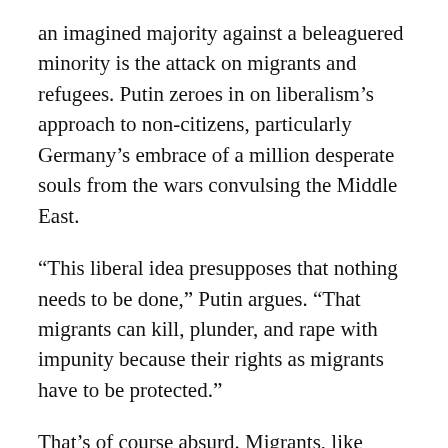an imagined majority against a beleaguered minority is the attack on migrants and refugees. Putin zeroes in on liberalism's approach to non-citizens, particularly Germany's embrace of a million desperate souls from the wars convulsing the Middle East.
“This liberal idea presupposes that nothing needs to be done,” Putin argues. “That migrants can kill, plunder, and rape with impunity because their rights as migrants have to be protected.”
That’s of course absurd. Migrants, like everyone else, are subject to the rule of law in Germany or the United States. It’s the height of hypocrisy for Putin to make this assertion, given that he kills and plunders with impunity. But that’s what distinguishes liberalism from the Russian president’s self-